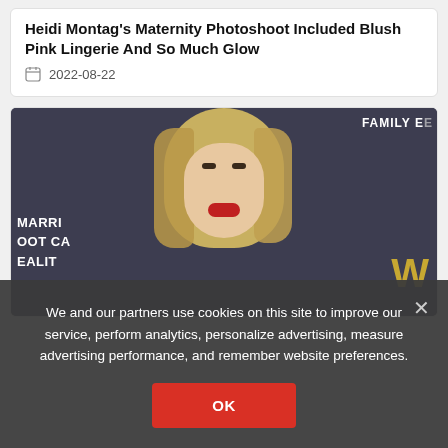Heidi Montag's Maternity Photoshoot Included Blush Pink Lingerie And So Much Glow
2022-08-22
[Figure (photo): Blonde woman with red lips at an event with 'FAMILY E', 'MARRI OOT CA REALIT' and 'W' text visible in background]
We and our partners use cookies on this site to improve our service, perform analytics, personalize advertising, measure advertising performance, and remember website preferences.